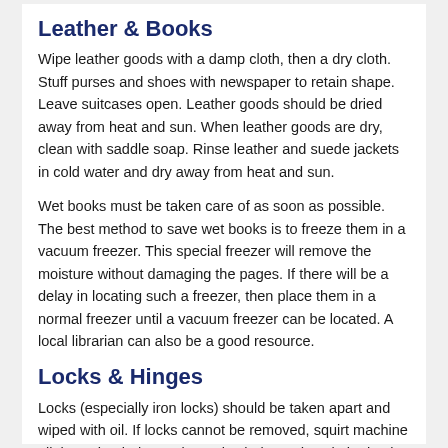Leather & Books
Wipe leather goods with a damp cloth, then a dry cloth. Stuff purses and shoes with newspaper to retain shape. Leave suitcases open. Leather goods should be dried away from heat and sun. When leather goods are dry, clean with saddle soap. Rinse leather and suede jackets in cold water and dry away from heat and sun.
Wet books must be taken care of as soon as possible. The best method to save wet books is to freeze them in a vacuum freezer. This special freezer will remove the moisture without damaging the pages. If there will be a delay in locating such a freezer, then place them in a normal freezer until a vacuum freezer can be located. A local librarian can also be a good resource.
Locks & Hinges
Locks (especially iron locks) should be taken apart and wiped with oil. If locks cannot be removed, squirt machine oil through a bolt opening or keyhole, and work the knob to distribute the oil. Hinges should also be thoroughly cleaned and oiled.